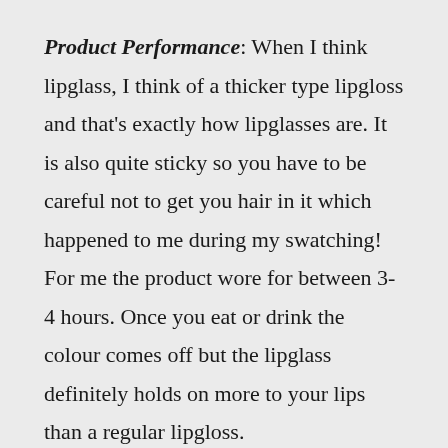Product Performance: When I think lipglass, I think of a thicker type lipgloss and that's exactly how lipglasses are. It is also quite sticky so you have to be careful not to get you hair in it which happened to me during my swatching! For me the product wore for between 3-4 hours. Once you eat or drink the colour comes off but the lipglass definitely holds on more to your lips than a regular lipgloss.
Product Flexibility: If you're are lipgloss loving girl like myself give this one a shot since it has the colour opacity of a lipstick, just in a lipgloss form. If you bold enough try wearing this colour to the office for a casual